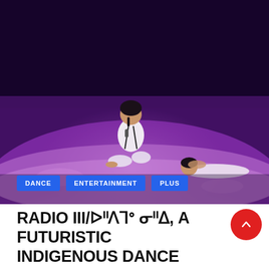[Figure (photo): A performer in white outfit sits on a purple-lit stage floor holding a microphone, with another performer lying in the background on a glowing purple/pink stage.]
DANCE   ENTERTAINMENT   PLUS
RADIO III/ᐅᐦᐱᒣᐤ ᓂᐦᐃ, A FUTURISTIC INDIGENOUS DANCE CONCERT,